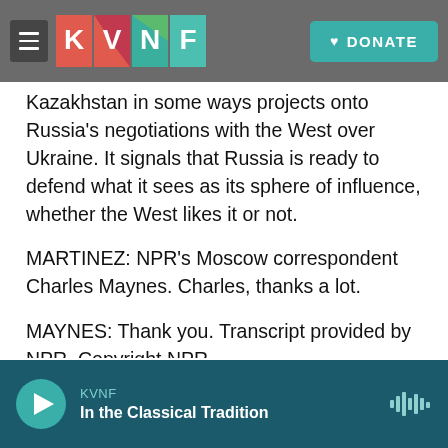[Figure (screenshot): KVNF radio website header with hamburger menu, KVNF logo (multicolor tiles), and teal DONATE button with heart icon, overlaid on dark rocky background]
Kazakhstan in some ways projects onto Russia's negotiations with the West over Ukraine. It signals that Russia is ready to defend what it sees as its sphere of influence, whether the West likes it or not.
MARTINEZ: NPR's Moscow correspondent Charles Maynes. Charles, thanks a lot.
MAYNES: Thank you. Transcript provided by NPR, Copyright NPR.
[Figure (screenshot): Social share buttons: Facebook (blue), Twitter (blue), LinkedIn (blue), Email (outline)]
[Figure (screenshot): KVNF audio player bar at bottom: play button, station name KVNF, program 'In the Classical Tradition', waveform icon]